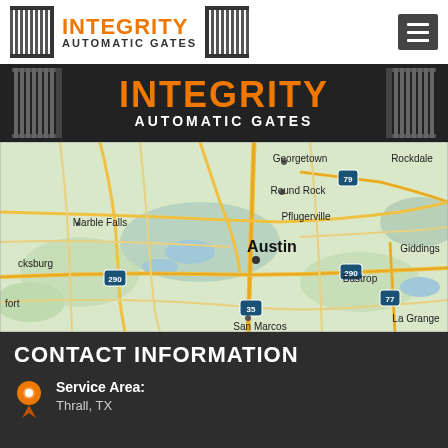[Figure (logo): Integrity Automatic Gates logo in top navigation bar with gate icons on sides and hamburger menu button on right]
[Figure (logo): Integrity Automatic Gates large hero banner with dark background, orange INTEGRITY text, white AUTOMATIC GATES text, and vertical bar gate icons on sides]
[Figure (map): Google Maps view of Austin, TX area showing surrounding cities including Georgetown, Round Rock, Pflugerville, Marble Falls, Bastrop, San Marcos, Rockdale, Giddings, La Grange, and highways 79, 290, 35, 77]
CONTACT INFORMATION
Service Area:
Thrall, TX